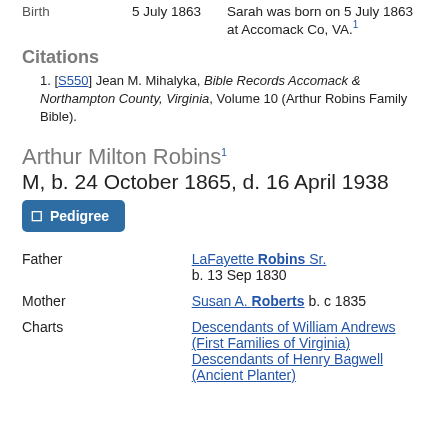Birth   5 July 1863   Sarah was born on 5 July 1863 at Accomack Co, VA.[1]
Citations
1. [S550] Jean M. Mihalyka, Bible Records Accomack & Northampton County, Virginia, Volume 10 (Arthur Robins Family Bible).
Arthur Milton Robins [1]
M, b. 24 October 1865, d. 16 April 1938
Father   LaFayette Robins Sr.  b. 13 Sep 1830
Mother   Susan A. Roberts  b. c 1835
Charts   Descendants of William Andrews (First Families of Virginia) Descendants of Henry Bagwell (Ancient Planter)